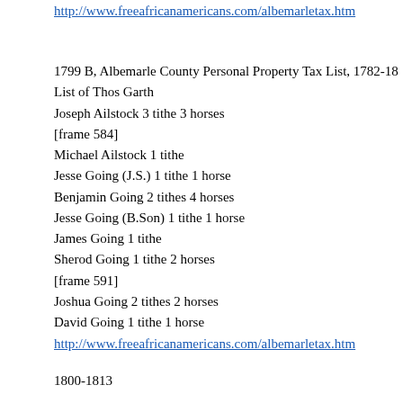http://www.freeafricanamericans.com/albemarletax.htm
1799 B, Albemarle County Personal Property Tax List, 1782-18
List of Thos Garth
Joseph Ailstock 3 tithe 3 horses
[frame 584]
Michael Ailstock 1 tithe
Jesse Going (J.S.) 1 tithe 1 horse
Benjamin Going 2 tithes 4 horses
Jesse Going (B.Son) 1 tithe 1 horse
James Going 1 tithe
Sherod Going 1 tithe 2 horses
[frame 591]
Joshua Going 2 tithes 2 horses
David Going 1 tithe 1 horse
http://www.freeafricanamericans.com/albemarletax.htm
1800-1813